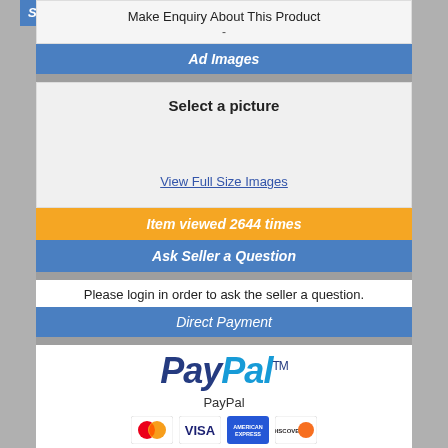Make Enquiry About This Product
-
Ad Images
Select a picture
View Full Size Images
Item viewed 2644 times
Ask Seller a Question
Please login in order to ask the seller a question.
Direct Payment
[Figure (logo): PayPal logo in blue italic text with TM symbol]
PayPal
[Figure (logo): Credit card logos: Mastercard, VISA, American Express, Discover]
Credit Card Payment
Shipping